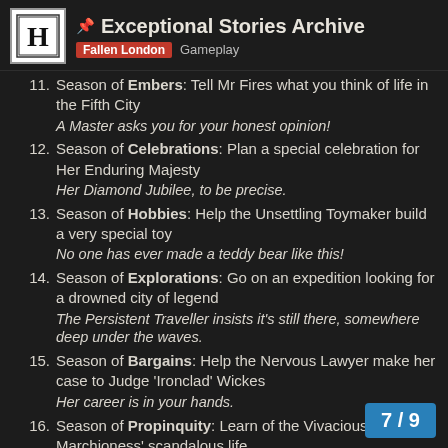📌 Exceptional Stories Archive — Fallen London Gameplay
11. Season of Embers: Tell Mr Fires what you think of life in the Fifth City — A Master asks you for your honest opinion!
12. Season of Celebrations: Plan a special celebration for Her Enduring Majesty — Her Diamond Jubilee, to be precise.
13. Season of Hobbies: Help the Unsettling Toymaker build a very special toy — No one has ever made a teddy bear like this!
14. Season of Explorations: Go on an expedition looking for a drowned city of legend — The Persistent Traveller insists it's still there, somewhere deep under the waves.
15. Season of Bargains: Help the Nervous Lawyer make her case to Judge 'Ironclad' Wickes — Her career is in your hands.
16. Season of Propinquity: Learn of the Vivacious Marchioness' scandalous life — Help her decide how to spend her la...
7 / 9